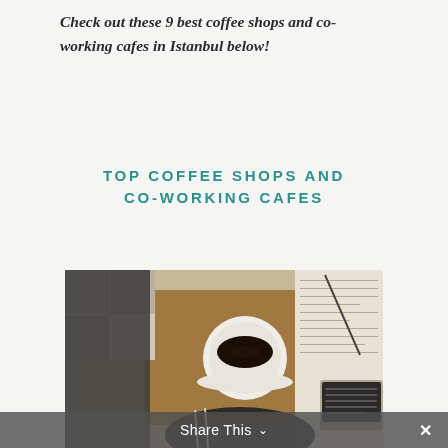Check out these 9 best coffee shops and co-working cafes in Istanbul below!
TOP COFFEE SHOPS AND CO-WORKING CAFES
[Figure (photo): A flat lay photo of a coffee shop workspace scene: a white cup of black coffee on a saucer on a wooden tray, a dark notebook, scattered papers with text and a pen, a dark plate with forks, and a laptop keyboard visible on the right.]
Share This ∨  ✕